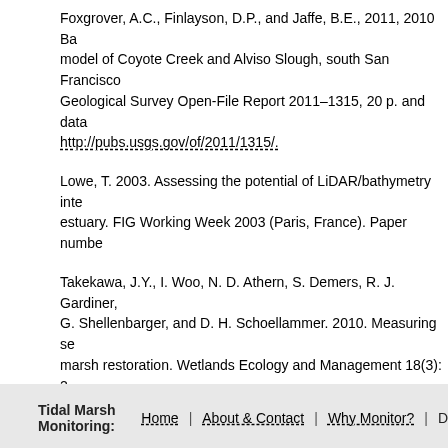Foxgrover, A.C., Finlayson, D.P., and Jaffe, B.E., 2011, 2010 Ba... model of Coyote Creek and Alviso Slough, south San Francisco... Geological Survey Open-File Report 2011–1315, 20 p. and data... http://pubs.usgs.gov/of/2011/1315/.
Lowe, T. 2003. Assessing the potential of LiDAR/bathymetry inte... estuary. FIG Working Week 2003 (Paris, France). Paper numbe...
Takekawa, J.Y., I. Woo, N. D. Athern, S. Demers, R. J. Gardiner,... G. Shellenbarger, and D. H. Schoellammer. 2010. Measuring se... marsh restoration. Wetlands Ecology and Management 18(3): 2... 009-9170-6.
Discussion
comments powered by Disqus
Tidal Marsh Monitoring: Home | About & Contact | Why Monitor? | D...